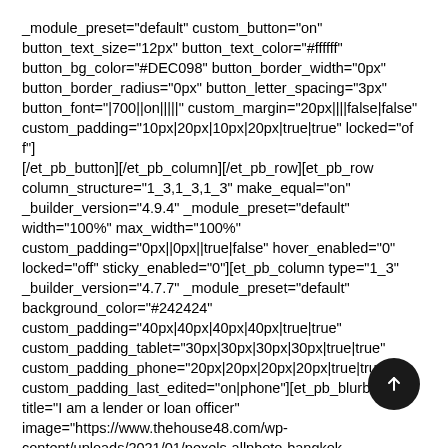_module_preset="default" custom_button="on" button_text_size="12px" button_text_color="#ffffff" button_bg_color="#DEC098" button_border_width="0px" button_border_radius="0px" button_letter_spacing="3px" button_font="|700||on|||||" custom_margin="20px||||false|false" custom_padding="10px|20px|10px|20px|true|true" locked="off"][/et_pb_button][/et_pb_column][/et_pb_row][et_pb_row column_structure="1_3,1_3,1_3" make_equal="on" _builder_version="4.9.4" _module_preset="default" width="100%" max_width="100%" custom_padding="0px||0px||true|false" hover_enabled="0" locked="off" sticky_enabled="0"][et_pb_column type="1_3" _builder_version="4.7.7" _module_preset="default" background_color="#242424" custom_padding="40px|40px|40px|40px|true|true" custom_padding_tablet="30px|30px|30px|30px|true|true" custom_padding_phone="20px|20px|20px|20px|true|true" custom_padding_last_edited="on|phone"][et_pb_blurb title="I am a lender or loan officer" image="https://www.thehouse48.com/wp-content/uploads/2021/01/pexels-allphoto-bangkok-3226403.jpg" icon_alignment="left" _builder_version="4.9.4"